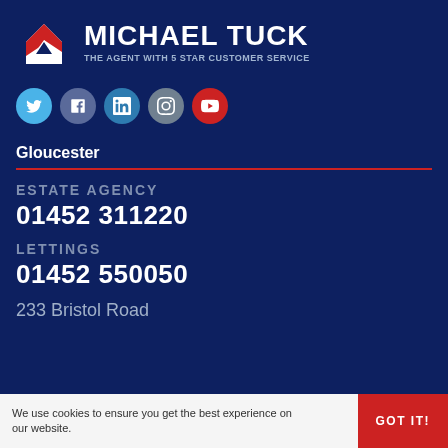[Figure (logo): Michael Tuck estate agent logo — house icon in red and white on navy background, with bold white text 'MICHAEL TUCK' and tagline 'THE AGENT WITH 5 STAR CUSTOMER SERVICE']
[Figure (infographic): Row of five circular social media icons: Twitter (light blue), Facebook (dark blue-grey), LinkedIn (blue), Instagram (grey), YouTube (red)]
Gloucester
ESTATE AGENCY
01452 311220
LETTINGS
01452 550050
233 Bristol Road
We use cookies to ensure you get the best experience on our website.
GOT IT!